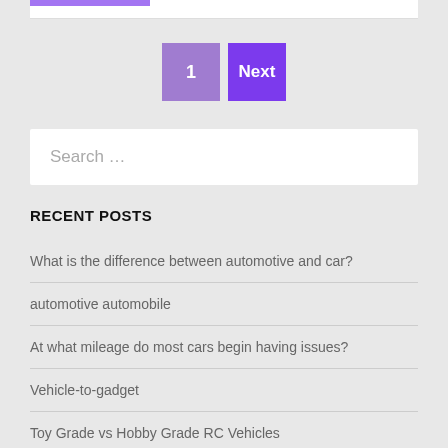[Figure (screenshot): Top white bar with a purple strip at the top left]
1
Next
Search …
RECENT POSTS
What is the difference between automotive and car?
automotive automobile
At what mileage do most cars begin having issues?
Vehicle-to-gadget
Toy Grade vs Hobby Grade RC Vehicles